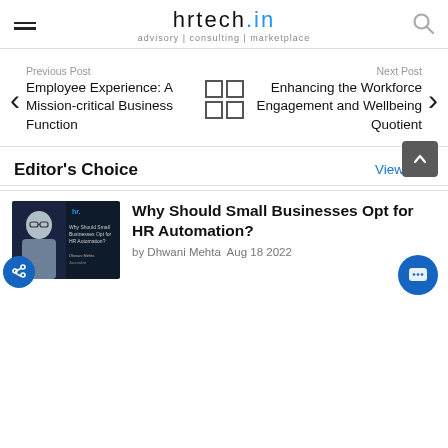hrtech.in — advisory | consulting | marketplace
Previous Post
Employee Experience: A Mission-critical Business Function
Next Post
Enhancing the Workforce Engagement and Wellbeing Quotient
Editor's Choice
View All >
[Figure (photo): Thumbnail image for article about HR automation with a person and text overlay]
Why Should Small Businesses Opt for HR Automation?
by Dhwani Mehta Aug 18 2022